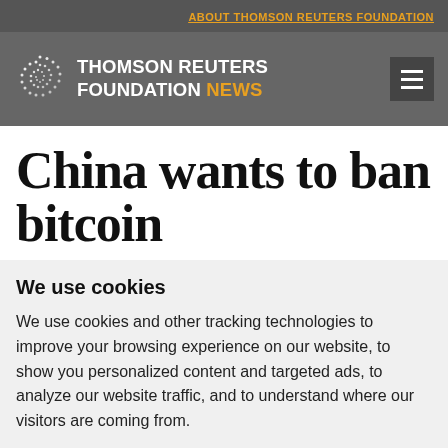ABOUT THOMSON REUTERS FOUNDATION
[Figure (logo): Thomson Reuters Foundation News logo with spiral dots icon and menu button]
China wants to ban bitcoin
We use cookies
We use cookies and other tracking technologies to improve your browsing experience on our website, to show you personalized content and targeted ads, to analyze our website traffic, and to understand where our visitors are coming from.